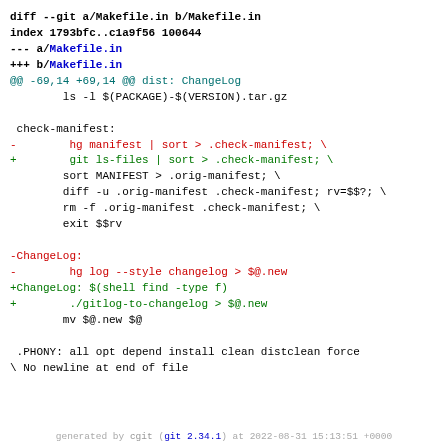diff --git a/Makefile.in b/Makefile.in
index 1793bfc..c1a9f56 100644
--- a/Makefile.in
+++ b/Makefile.in
@@ -69,14 +69,14 @@ dist: ChangeLog
         ls -l $(PACKAGE)-$(VERSION).tar.gz

 check-manifest:
-        hg manifest | sort > .check-manifest; \
+        git ls-files | sort > .check-manifest; \
         sort MANIFEST > .orig-manifest; \
         diff -u .orig-manifest .check-manifest; rv=$$?; \
         rm -f .orig-manifest .check-manifest; \
         exit $$rv

-ChangeLog:
-        hg log --style changelog > $@.new
+ChangeLog: $(shell find -type f)
+        ./gitlog-to-changelog > $@.new
         mv $@.new $@

 .PHONY: all opt depend install clean distclean force
\ No newline at end of file
generated by cgit (git 2.34.1) at 2022-08-31 15:13:51 +0000